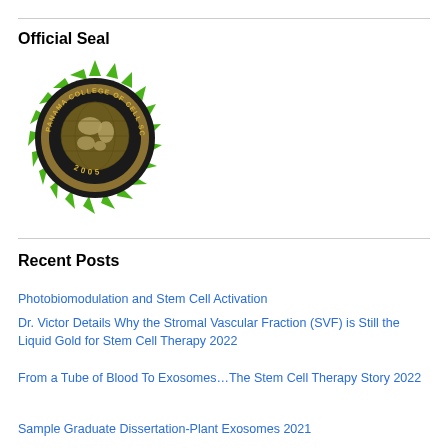Official Seal
[Figure (logo): Panama College of Cell Science official seal — circular badge with green spiky outer ring, dark border, gold inner ring, globe in center, text reading 'PANAMA COLLEGE OF CELL SCIENCE' and '2005']
Recent Posts
Photobiomodulation and Stem Cell Activation
Dr. Victor Details Why the Stromal Vascular Fraction (SVF) is Still the Liquid Gold for Stem Cell Therapy 2022
From a Tube of Blood To Exosomes…The Stem Cell Therapy Story 2022
Sample Graduate Dissertation-Plant Exosomes 2021